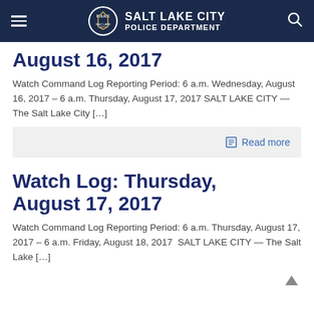Salt Lake City Police Department
Watch Log: Wednesday, August 16, 2017
Watch Command Log Reporting Period: 6 a.m. Wednesday, August 16, 2017 – 6 a.m. Thursday, August 17, 2017 SALT LAKE CITY — The Salt Lake City [...]
Read more
Watch Log: Thursday, August 17, 2017
Watch Command Log Reporting Period: 6 a.m. Thursday, August 17, 2017 – 6 a.m. Friday, August 18, 2017  SALT LAKE CITY — The Salt Lake [...]